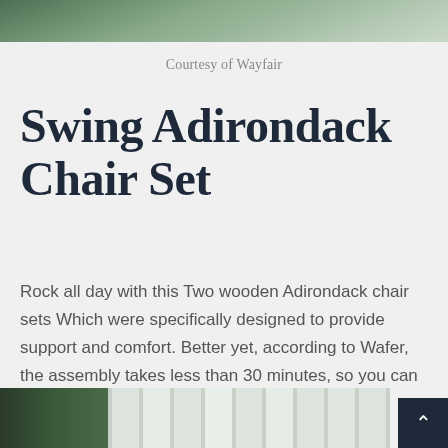[Figure (photo): Partial view of palm or tropical plant leaves at the top of the page]
Courtesy of Wayfair
Swing Adirondack Chair Set
Rock all day with this Two wooden Adirondack chair sets Which were specifically designed to provide support and comfort. Better yet, according to Wafer, the assembly takes less than 30 minutes, so you can get up and run (or sit and sway) in no time.
[Figure (photo): Partial view of outdoor setting with white fence/railing and green hedges, at the bottom of the page]